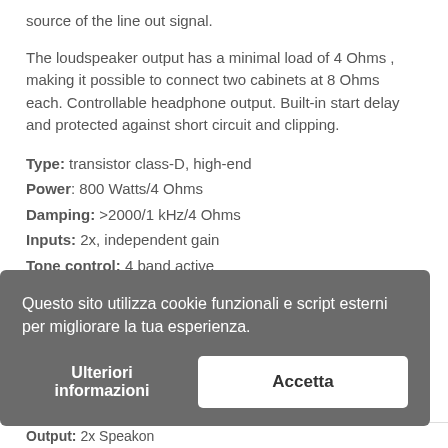source of the line out signal.
The loudspeaker output has a minimal load of 4 Ohms , making it possible to connect two cabinets at 8 Ohms each. Controllable headphone output. Built-in start delay and protected against short circuit and clipping.
Type: transistor class-D, high-end
Power: 800 Watts/4 Ohms
Damping: >2000/1 kHz/4 Ohms
Inputs: 2x, independent gain
Tone control: 4 band active
Questo sito utilizza cookie funzionali e script esterni per migliorare la tua esperienza.
Ulteriori informazioni
Accetta
Output: 2x Speakon